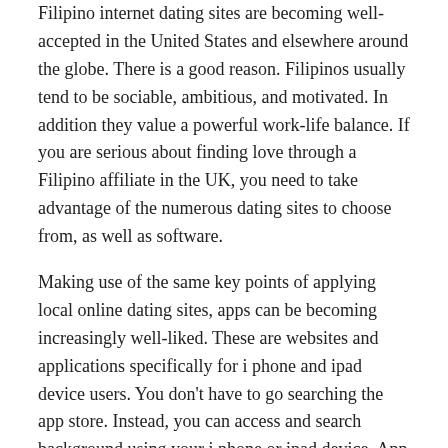Filipino internet dating sites are becoming well-accepted in the United States and elsewhere around the globe. There is a good reason. Filipinos usually tend to be sociable, ambitious, and motivated. In addition they value a powerful work-life balance. If you are serious about finding love through a Filipino affiliate in the UK, you need to take advantage of the numerous dating sites to choose from, as well as software.
Making use of the same key points of applying local online dating sites, apps can be becoming increasingly well-liked. These are websites and applications specifically for i phone and ipad device users. You don't have to go searching the app store. Instead, you can access and search background using your i phone or ipad device. App users are able to modify their dating profiles with images, videos, and events they may have attended.
You can use one of the many international seeing apps meant for iPhone, Android os, and Blackberry. You will discover chat room apps dedicated solely to chatting with other iPhone users. Some sites even offer online dating programs for free. Yet , if you want to sign up for paid out in-app online dating apps, you should visit a site that provides your tastes and hobbies.